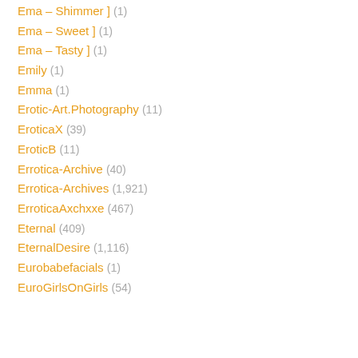Ema – Shimmer ] (1)
Ema – Sweet ] (1)
Ema – Tasty ] (1)
Emily (1)
Emma (1)
Erotic-Art.Photography (11)
EroticaX (39)
EroticB (11)
Errotica-Archive (40)
Errotica-Archives (1,921)
ErroticaAxchxxe (467)
Eternal (409)
EternalDesire (1,116)
Eurobabefacials (1)
EuroGirlsOnGirls (54)